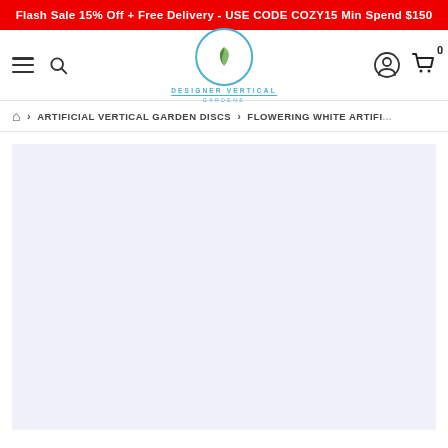Flash Sale 15% Off + Free Delivery - USE CODE COZY15 Min Spend $150
[Figure (logo): Designer Vertical Gardens logo: circular border with two green leaves, text 'DESIGNER VERTICAL GARDENS']
ARTIFICIAL VERTICAL GARDEN DISCS > FLOWERING WHITE ARTIFICIAL
[Figure (other): Light lavender/grey blank content area, product image placeholder]